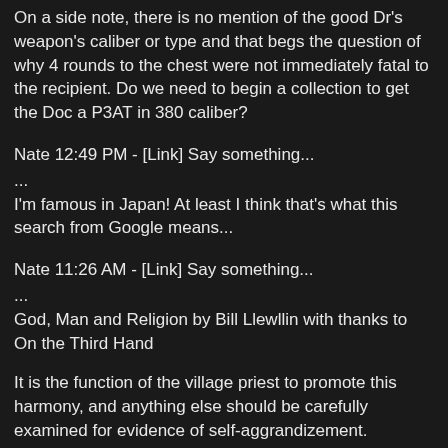On a side note, there is no mention of the good Dr's weapon's caliber or type and that begs the question of why 4 rounds to the chest were not immediately fatal to the recipient. Do we need to begin a collection to get the Doc a P3AT in 380 caliber?
Nate 12:49 PM - [Link] Say something...
...
I'm famous in Japan! At least I think that's what this search from Google means...
Nate 11:26 AM - [Link] Say something...
...
God, Man and Religion by Bill Llewllin with thanks to On the Third Hand
It is the function of the village priest to promote this harmony, and anything else should be carefully examined for evidence of self-aggrandizement.
Worth reading the entire thing.
Nate 8:46 AM - [Link] Say something...
...
Monday, November 24, 2003